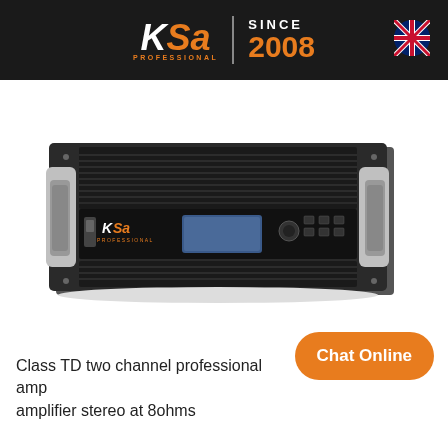KSa PROFESSIONAL | SINCE 2008
[Figure (photo): KSA Professional Class TD two channel professional power amplifier, rack-mount unit with silver and black front panel, LCD display, and KSA logo.]
Class TD two channel professional amp amplifier stereo at 8ohms
[Figure (other): Chat Online button (orange rounded pill)]